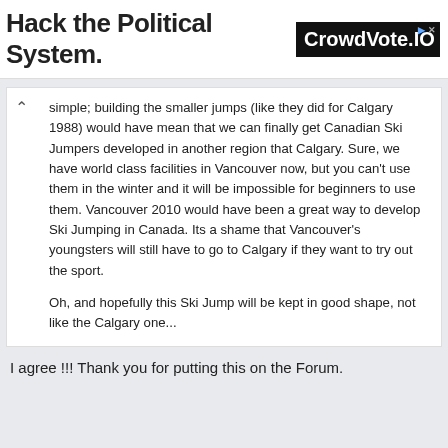Hack the Political System.
[Figure (screenshot): Advertisement banner for CrowdVote.IO with black background and white text]
simple; building the smaller jumps (like they did for Calgary 1988) would have mean that we can finally get Canadian Ski Jumpers developed in another region that Calgary. Sure, we have world class facilities in Vancouver now, but you can't use them in the winter and it will be impossible for beginners to use them. Vancouver 2010 would have been a great way to develop Ski Jumping in Canada. Its a shame that Vancouver's youngsters will still have to go to Calgary if they want to try out the sport.

Oh, and hopefully this Ski Jump will be kept in good shape, not like the Calgary one...
I agree !!! Thank you for putting this on the Forum.